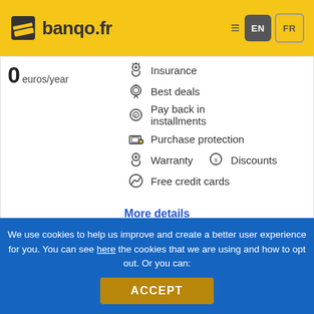banqo.fr — EN / FR
0 euros/year
Insurance
Best deals
Pay back in installments
Purchase protection
Warranty
Discounts
Free credit cards
More details
We use cookies to help us improve and create a better user experience for you. You can see here the cookies that we are using and how to opt out. Or you can:
ACCEPT